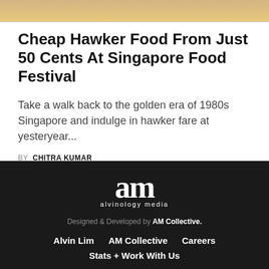[Figure (photo): Partial image strip showing a food item at the top of the page]
Cheap Hawker Food From Just 50 Cents At Singapore Food Festival
Take a walk back to the golden era of 1980s Singapore and indulge in hawker fare at yesteryear...
BY  CHITRA KUMAR
[Figure (logo): am alvinology media logo in white on black background]
Designed & Developed by AM Collective.
Alvin Lim   AM Collective   Careers   Stats + Work With Us